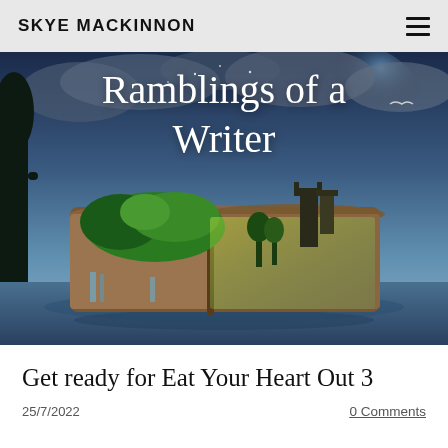SKYE MACKINNON
[Figure (illustration): Fantasy illustration of an open book floating above water, with lush green landscapes, trees, waterfalls, and a glowing castle growing from its pages, set against a dramatic cloudy blue sky. Text overlay reads 'Ramblings of a Writer'.]
Get ready for Eat Your Heart Out 3
25/7/2022
0 Comments